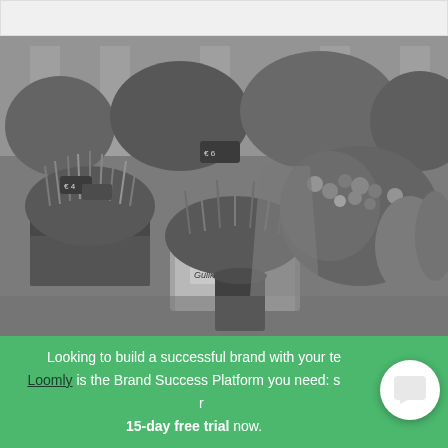[Figure (photo): Black and white photograph of a flower market stall with various potted plants and bouquets, including plants labeled 'Gulik'. Multiple buckets and wrapped flowers are visible.]
Looking to build a successful brand with your team? Loomly is the Brand Success Platform you need: start your 15-day free trial now.